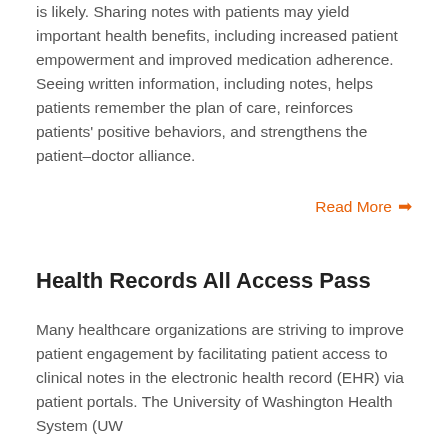is likely. Sharing notes with patients may yield important health benefits, including increased patient empowerment and improved medication adherence. Seeing written information, including notes, helps patients remember the plan of care, reinforces patients' positive behaviors, and strengthens the patient–doctor alliance.
Read More →
Health Records All Access Pass
Many healthcare organizations are striving to improve patient engagement by facilitating patient access to clinical notes in the electronic health record (EHR) via patient portals. The University of Washington Health System (UW